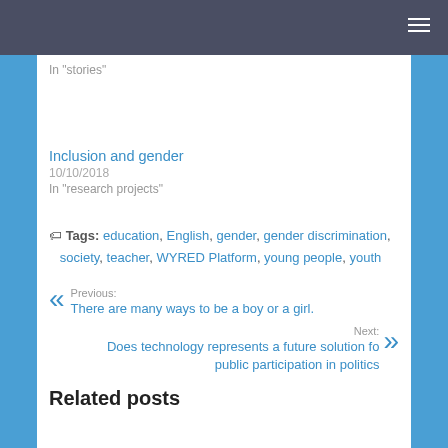In "stories"
Inclusion and gender
10/10/2018
In "research projects"
Tags: education, English, gender, gender discrimination, society, teacher, WYRED Platform, young people, youth
Previous: There are many ways to be a boy or a girl.
Next: Does technology represents a future solution for public participation in politics
Related posts